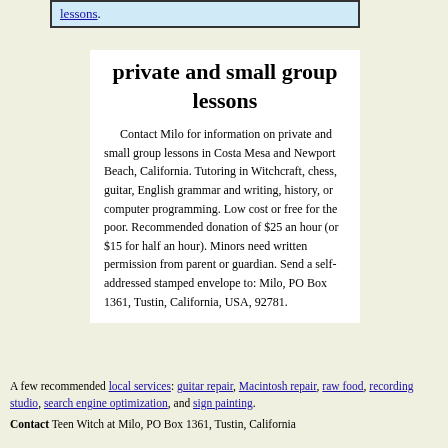lessons.
private and small group lessons
Contact Milo for information on private and small group lessons in Costa Mesa and Newport Beach, California. Tutoring in Witchcraft, chess, guitar, English grammar and writing, history, or computer programming. Low cost or free for the poor. Recommended donation of $25 an hour (or $15 for half an hour). Minors need written permission from parent or guardian. Send a self-addressed stamped envelope to: Milo, PO Box 1361, Tustin, California, USA, 92781.
A few recommended local services: guitar repair, Macintosh repair, raw food, recording studio, search engine optimization, and sign painting.
Contact Teen Witch at Milo, PO Box 1361, Tustin, California